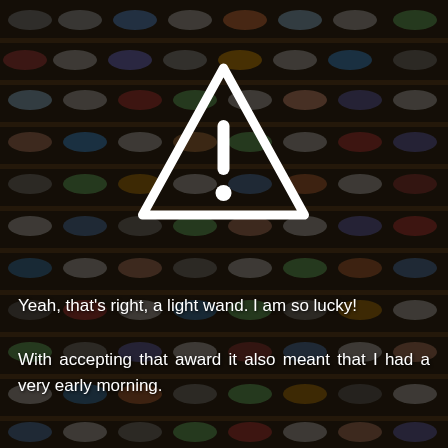[Figure (photo): Dark background photo of a shoe store wall with many shelves filled with colorful sneakers/shoes, with a dark overlay]
[Figure (illustration): White warning triangle icon with exclamation mark, centered in the upper portion of the image]
Yeah, that's right, a light wand. I am so lucky!
With accepting that award it also meant that I had a very early morning.